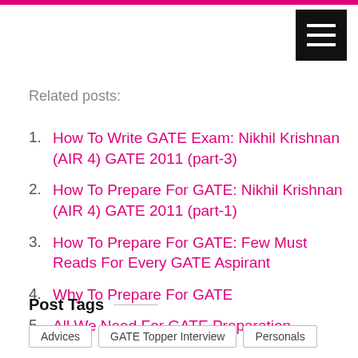Related posts:
How To Write GATE Exam: Nikhil Krishnan (AIR 4) GATE 2011 (part-3)
How To Prepare For GATE: Nikhil Krishnan (AIR 4) GATE 2011 (part-1)
How To Prepare For GATE: Few Must Reads For Every GATE Aspirant
Why To Prepare For GATE
All We Need For GATE Preparation
Post Tags
Advices | GATE Topper Interview | Personals